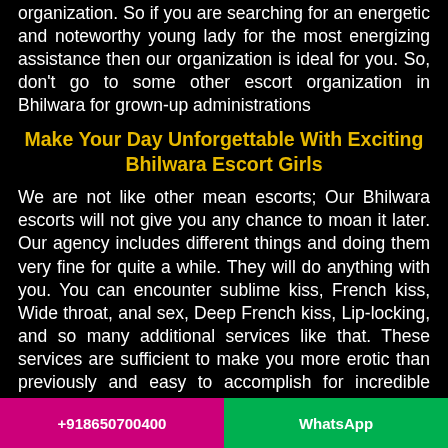organization. So if you are searching for an energetic and noteworthy young lady for the most energizing assistance then our organization is ideal for you. So, don't go to some other escort organization in Bhilwara for grown-up administrations
Make Your Day Unforgettable With Exciting Bhilwara Escort Girls
We are not like other mean escorts; Our Bhilwara escorts will not give you any chance to moan it later. Our agency includes different things and doing them very fine for quite a while. They will do anything with you. You can encounter sublime kiss, French kiss, Wide throat, anal sex, Deep French kiss, Lip-locking, and so many additional services like that. These services are sufficient to make you more erotic than previously and easy to accomplish for incredible satisfaction with our darlings. The entirety of our Escort Girls in Bhilwara
+918650700400    WhatsApp